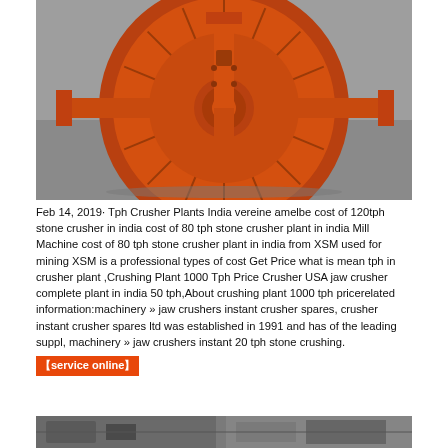[Figure (photo): Orange circular crusher component (rotor/disc with radial arms) sitting on a grey floor]
Feb 14, 2019· Tph Crusher Plants India vereine amelbe cost of 120tph stone crusher in india cost of 80 tph stone crusher plant in india Mill Machine cost of 80 tph stone crusher plant in india from XSM used for mining XSM is a professional types of cost Get Price what is mean tph in crusher plant ,Crushing Plant 1000 Tph Price Crusher USA jaw crusher complete plant in india 50 tph,About crushing plant 1000 tph pricerelated information:machinery » jaw crushers instant crusher spares, crusher instant crusher spares ltd was established in 1991 and has of the leading suppl, machinery » jaw crushers instant 20 tph stone crushing.
【service online】
[Figure (photo): Partial view of industrial machinery/crusher plant at bottom of page]